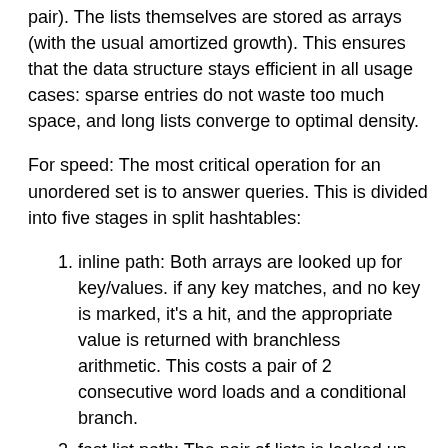pair). The lists themselves are stored as arrays (with the usual amortized growth). This ensures that the data structure stays efficient in all usage cases: sparse entries do not waste too much space, and long lists converge to optimal density.
For speed: The most critical operation for an unordered set is to answer queries. This is divided into five stages in split hashtables:
inline path: Both arrays are looked up for key/values. if any key matches, and no key is marked, it's a hit, and the appropriate value is returned with branchless arithmetic. This costs a pair of 2 consecutive word loads and a conditional branch.
fast list path: The pair of lists is looked up (the same list is taken twice when we have an inline key/value pair on one end) and the two first key/value pairs in each of them are loaded (this can be done without branch by loading at least 2